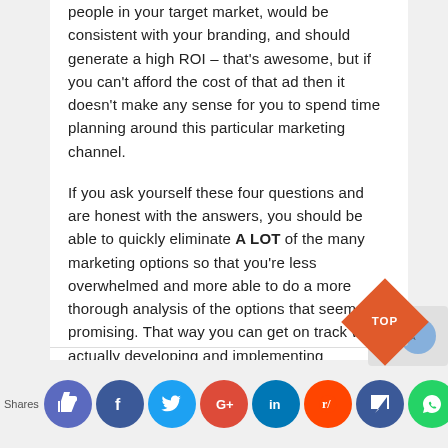people in your target market, would be consistent with your branding, and should generate a high ROI – that's awesome, but if you can't afford the cost of that ad then it doesn't make any sense for you to spend time planning around this particular marketing channel.
If you ask yourself these four questions and are honest with the answers, you should be able to quickly eliminate A LOT of the many marketing options so that you're less overwhelmed and more able to do a more thorough analysis of the options that seem promising. That way you can get on track with actually developing and implementing successful marketing campaigns that will help you grow your business.
[Figure (other): Social sharing bar with Shares label and icons for Like, Facebook, Twitter, Google+, LinkedIn, Reddit, chat, WhatsApp, Digg, Mail, and more. Also shows a diamond-shaped orange TOP button and a CAPTCHA widget.]